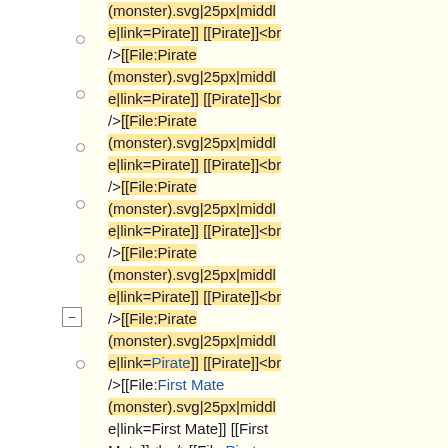(monster).svg|25px|middle|link=Pirate]] [[Pirate]]<br />[[File:Pirate (monster).svg|25px|middle|link=Pirate]] [[Pirate]]<br />[[File:Pirate (monster).svg|25px|middle|link=Pirate]] [[Pirate]]<br />[[File:Pirate (monster).svg|25px|middle|link=Pirate]] [[Pirate]]<br />[[File:Pirate (monster).svg|25px|middle|link=Pirate]] [[Pirate]]<br />[[File:Pirate (monster).svg|25px|middle|link=Pirate]] [[Pirate]]<br />[[File:First Mate (monster).svg|25px|middle|link=First Mate]] [[First Mate]]<br />[[File:Pirate